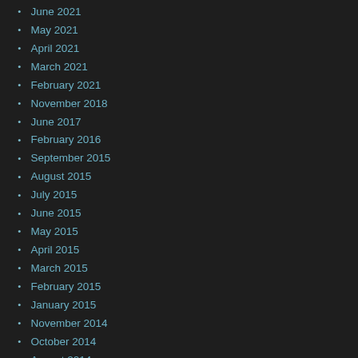June 2021
May 2021
April 2021
March 2021
February 2021
November 2018
June 2017
February 2016
September 2015
August 2015
July 2015
June 2015
May 2015
April 2015
March 2015
February 2015
January 2015
November 2014
October 2014
August 2014
July 2014
June 2014
May 2014
April 2014
August 2013
July 2013